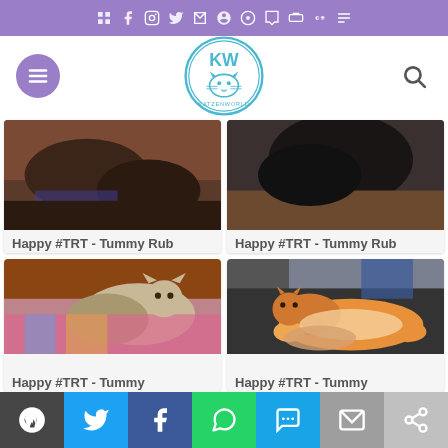Social media icon bar (WordPress, Twitter, Facebook, WhatsApp, SMS, Email, Share)
[Figure (screenshot): Katzenworld blog site header with logo and navigation]
[Figure (photo): Cat photo for Happy #TRT - Tummy Rub Tuesday (Week 416)]
Happy #TRT - Tummy Rub Tuesday (Week 416)
[Figure (photo): Cat photo for Happy #TRT - Tummy Rub Tuesday (Week 401)]
Happy #TRT - Tummy Rub Tuesday (Week 401)
[Figure (photo): Cat lying on colourful blanket for Happy #TRT - Tummy Rub Tuesday]
Happy #TRT - Tummy
[Figure (photo): Orange cat being held for Happy #TRT - Tummy Rub Tuesday]
Happy #TRT - Tummy
Share bar with WordPress, Twitter, Facebook, WhatsApp, SMS, Email, Share buttons